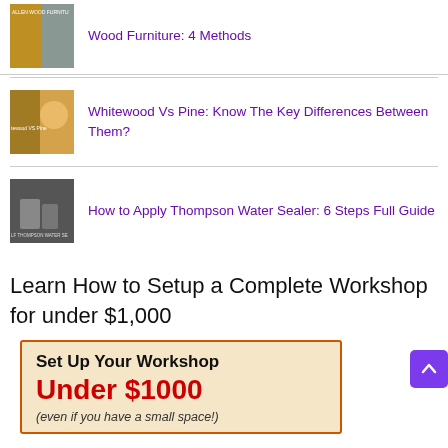Wood Furniture: 4 Methods
Whitewood Vs Pine: Know The Key Differences Between Them?
How to Apply Thompson Water Sealer: 6 Steps Full Guide
Learn How to Setup a Complete Workshop for under $1,000
[Figure (infographic): Ad banner: Set Up Your Workshop Under $1000 (even if you have a small space!)]